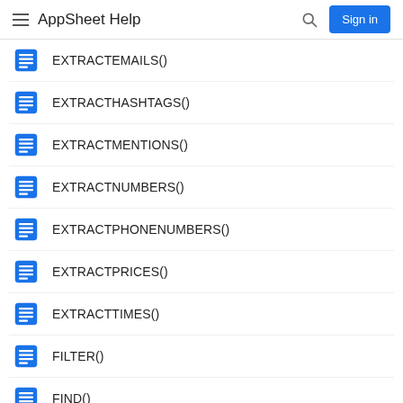AppSheet Help
EXTRACTEMAILS()
EXTRACTHASHTAGS()
EXTRACTMENTIONS()
EXTRACTNUMBERS()
EXTRACTPHONENUMBERS()
EXTRACTPRICES()
EXTRACTTIMES()
FILTER()
FIND()